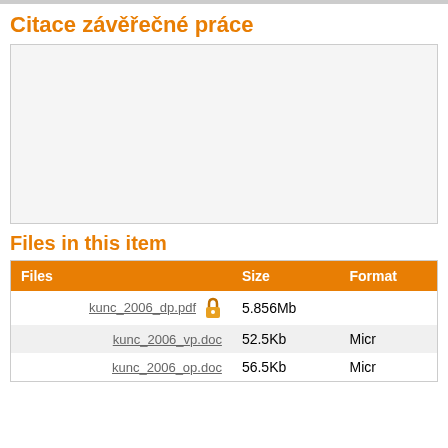Citace závěřečné práce
Files in this item
| Files | Size | Format |
| --- | --- | --- |
| kunc_2006_dp.pdf 🔒 | 5.856Mb |  |
| kunc_2006_vp.doc | 52.5Kb | Micr |
| kunc_2006_op.doc | 56.5Kb | Micr |